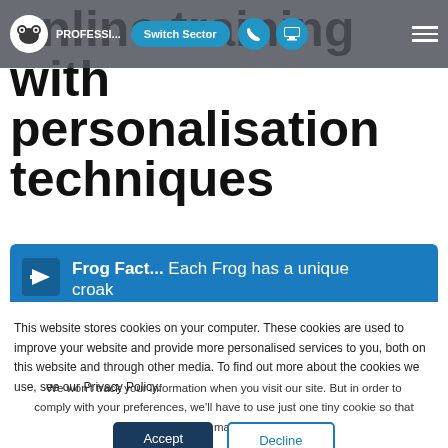PROFESSI... | Switch Sector
online training with personalisation techniques
Frog Fact... Each Frog has a unique croak
This website stores cookies on your computer. These cookies are used to improve your website and provide more personalised services to you, both on this website and through other media. To find out more about the cookies we use, see our Privacy Policy.
We won't track your information when you visit our site. But in order to comply with your preferences, we'll have to use just one tiny cookie so that you're not asked to make this choice again.
Accept | Decline